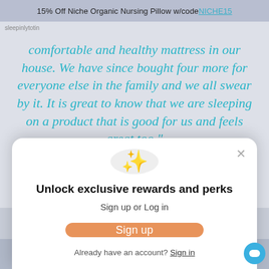15% Off Niche Organic Nursing Pillow w/code NICHE15
comfortable and healthy mattress in our house. We have since bought four more for everyone else in the family and we all swear by it. It is great to know that we are sleeping on a product that is good for us and feels great too."
[Figure (screenshot): Modal popup with sparkle emoji icon, title 'Unlock exclusive rewards and perks', subtitle 'Sign up or Log in', an orange 'Sign up' button, and a 'Already have an account? Sign in' link. A close (×) button appears in the top right corner of the modal.]